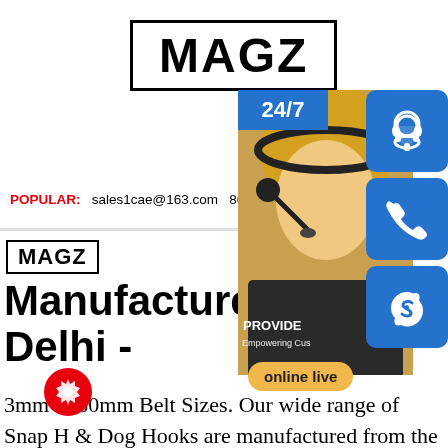[Figure (logo): MAGZ logo in bold text with black border box at top center]
WORLD-CLASS SUPPLIER OF S MATERIAL
POPULAR: sales1cae@163.com 86 371 861
[Figure (photo): Right side panel with customer service representative photo, 24/7 text, phone/headset/skype icon boxes in blue, and online live button]
[Figure (logo): Small MAGZ logo with black border]
Manufacturer from Delhi -
3mm to 50mm Belt Sizes. Our wide range of Snap H & Dog Hooks are manufactured from the highest quality of Zinc Alloy. Our entire range is